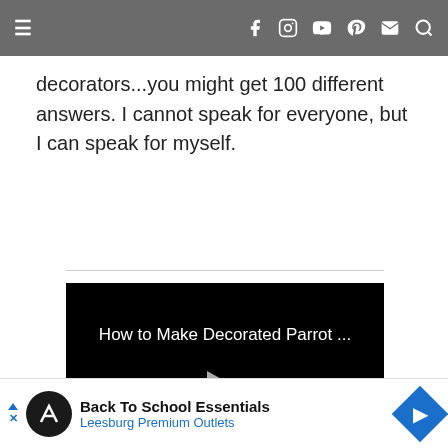Navigation bar with hamburger menu and social icons
decorators...you might get 100 different answers. I cannot speak for everyone, but I can speak for myself.
[Figure (screenshot): Embedded video player with black background showing title 'How to Make Decorated Parrot ...' and a play button triangle in the center]
Back To School Essentials Leesburg Premium Outlets